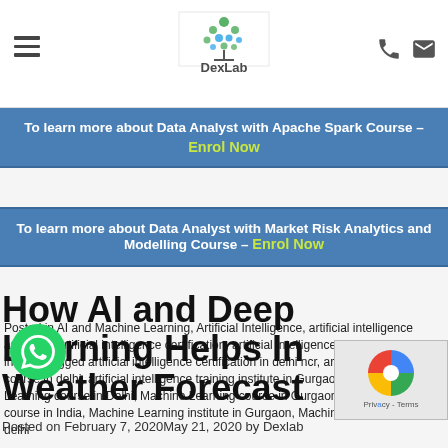DexLab — navigation header with logo, hamburger menu, phone and mail icons
To learn more about Data Analyst with Apache Spark Course – Enrol Now
To learn more about Data Analyst with Market Risk Analytics and Modelling Course – Enrol Now
Posted in AI and Machine Learning, Artificial Intelligence, artificial intelligence analytics, artificial intelligence certification, artificial intelligence training instituteTagged artificial intelligence certification in delhi ncr, artificial intelligence course in delhi, artificial intelligence training institute in Gurgaon, Machine Learning course in Delhi, Machine Learning course in Gurgaon, Machine Learning course in India, Machine Learning institute in Gurgaon, Machine Learning training delhi
How AI and Deep Learning Helps In Weather Forecast
Posted on February 7, 2020May 21, 2020 by Dexlab